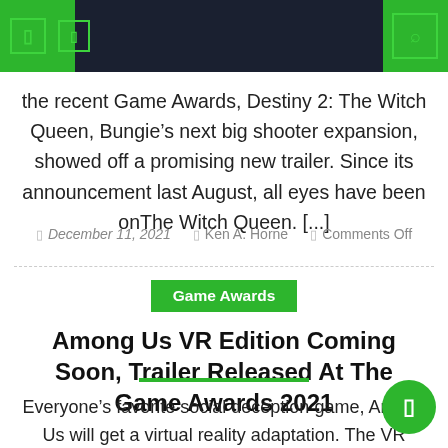[Navigation bar with icons and search]
the recent Game Awards, Destiny 2: The Witch Queen, Bungie’s next big shooter expansion, showed off a promising new trailer. Since its announcement last August, all eyes have been on The Witch Queen. [...]
December 11, 2021  ▪  Ken A. Horne  ▪  Comments Off
Game Awards
Among Us VR Edition Coming Soon, Trailer Released At The Game Awards 2021
Everyone’s favorite social deception game, Among Us will get a virtual reality adaptation. The VR adaptation of game will be available on Meta Quest, PlayStation VR and